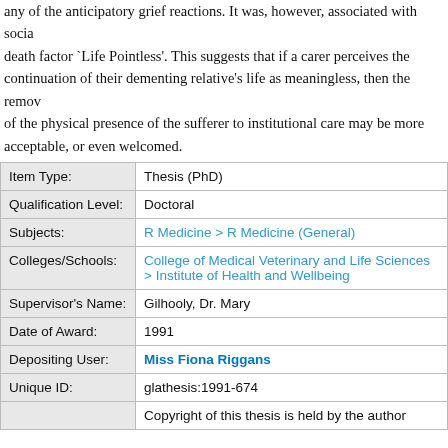any of the anticipatory grief reactions. It was, however, associated with social death factor `Life Pointless'. This suggests that if a carer perceives the continuation of their dementing relative's life as meaningless, then the removal of the physical presence of the sufferer to institutional care may be more acceptable, or even welcomed.
| Field | Value |
| --- | --- |
| Item Type: | Thesis (PhD) |
| Qualification Level: | Doctoral |
| Subjects: | R Medicine > R Medicine (General) |
| Colleges/Schools: | College of Medical Veterinary and Life Sciences > Institute of Health and Wellbeing |
| Supervisor's Name: | Gilhooly, Dr. Mary |
| Date of Award: | 1991 |
| Depositing User: | Miss Fiona Riggans |
| Unique ID: | glathesis:1991-674 |
|  | Copyright of this thesis is held by the author |